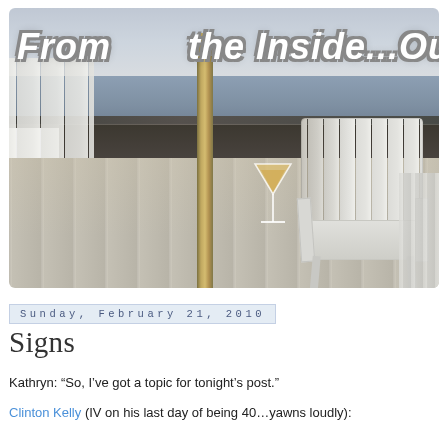[Figure (photo): Blog header photo showing a beach deck scene with white Adirondack chairs, a cocktail/martini glass on a slatted table, a brass pole, and the ocean in the background at dusk. Text overlay reads 'From the Inside...Out.']
Sunday, February 21, 2010
Signs
Kathryn: “So, I’ve got a topic for tonight’s post.”
Clinton Kelly (IV on his last day of being 40…yawns loudly):